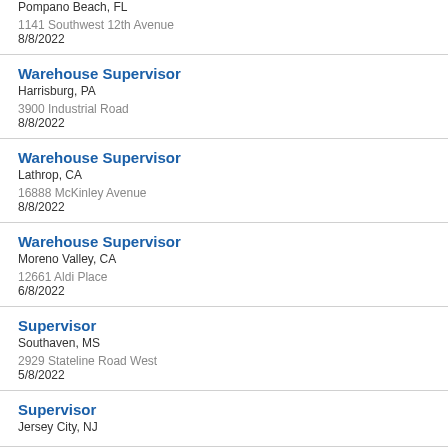Warehouse Supervisor
Pompano Beach, FL
1141 Southwest 12th Avenue
8/8/2022
Warehouse Supervisor
Harrisburg, PA
3900 Industrial Road
8/8/2022
Warehouse Supervisor
Lathrop, CA
16888 McKinley Avenue
8/8/2022
Warehouse Supervisor
Moreno Valley, CA
12661 Aldi Place
6/8/2022
Supervisor
Southaven, MS
2929 Stateline Road West
5/8/2022
Supervisor
Jersey City, NJ